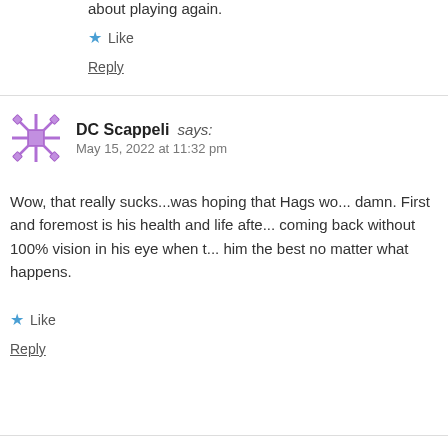about playing again.
Like
Reply
DC Scappeli says:
May 15, 2022 at 11:32 pm
Wow, that really sucks...was hoping that Hags wo... damn. First and foremost is his health and life afte... coming back without 100% vision in his eye when t... him the best no matter what happens.
Like
Reply